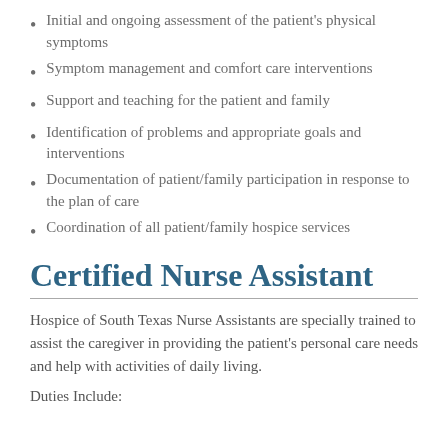Initial and ongoing assessment of the patient's physical symptoms
Symptom management and comfort care interventions
Support and teaching for the patient and family
Identification of problems and appropriate goals and interventions
Documentation of patient/family participation in response to the plan of care
Coordination of all patient/family hospice services
Certified Nurse Assistant
Hospice of South Texas Nurse Assistants are specially trained to assist the caregiver in providing the patient's personal care needs and help with activities of daily living.
Duties Include: